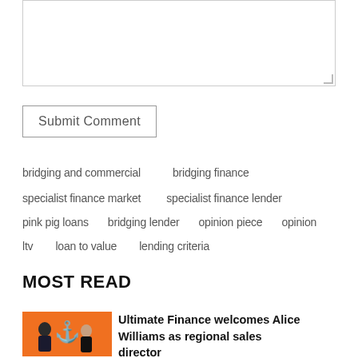[Figure (other): Empty textarea input box for comment submission]
Submit Comment
bridging and commercial   bridging finance
specialist finance market   specialist finance lender
pink pig loans   bridging lender   opinion piece   opinion
ltv   loan to value   lending criteria
MOST READ
[Figure (photo): Two people standing in front of orange background with anchor/J logo — man in dark suit on left, woman in black on right]
Ultimate Finance welcomes Alice Williams as regional sales director